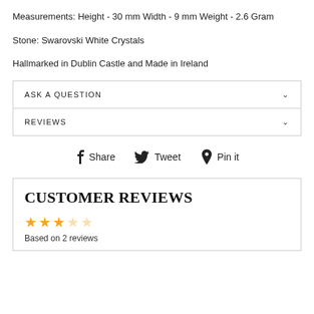Measurements: Height - 30 mm Width - 9 mm Weight - 2.6 Gram
Stone: Swarovski White Crystals
Hallmarked in Dublin Castle and Made in Ireland
ASK A QUESTION
REVIEWS
Share  Tweet  Pin it
CUSTOMER REVIEWS
Based on 2 reviews